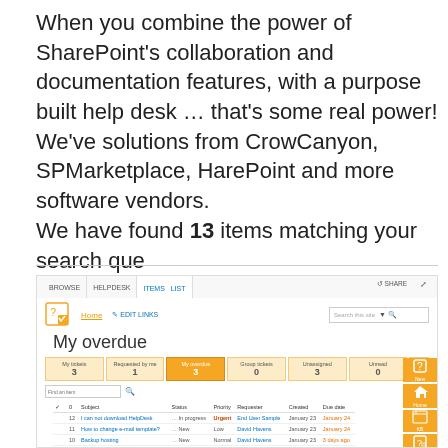When you combine the power of SharePoint's collaboration and documentation features, with a purpose built help desk … that's some real power! We've solutions from CrowCanyon, SPMarketplace, HarePoint and more software vendors.
We have found 13 items matching your search que
[Figure (screenshot): Screenshot of a SharePoint help desk interface showing 'My overdue' view with navigation tabs (BROWSE, HELPDESK, ITEMS, LIST), a stats row showing My tickets: 3, Requested by me: 1, My overdue: 3 (highlighted), Group tickets: 0, Unassigned: 3, Unread: 0, and a ticket table listing items 12, 11, and 10 with statuses, priorities, requesters, created dates, and due dates. Right sidebar shows orange icon buttons for New, Home, KB, Tickets, Contacts, and more.]